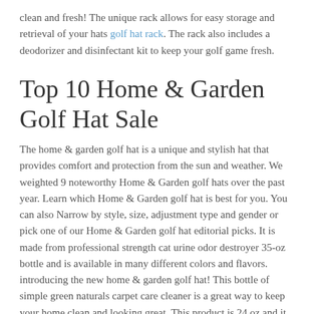clean and fresh! The unique rack allows for easy storage and retrieval of your hats golf hat rack. The rack also includes a deodorizer and disinfectant kit to keep your golf game fresh.
Top 10 Home & Garden Golf Hat Sale
The home & garden golf hat is a unique and stylish hat that provides comfort and protection from the sun and weather. We weighted 9 noteworthy Home & Garden golf hats over the past year. Learn which Home & Garden golf hat is best for you. You can also Narrow by style, size, adjustment type and gender or pick one of our Home & Garden golf hat editorial picks. It is made from professional strength cat urine odor destroyer 35-oz bottle and is available in many different colors and flavors.
introducing the new home & garden golf hat! This bottle of simple green naturals carpet care cleaner is a great way to keep your home clean and looking great. This product is 24 oz and it can be used on carpets, walls, and